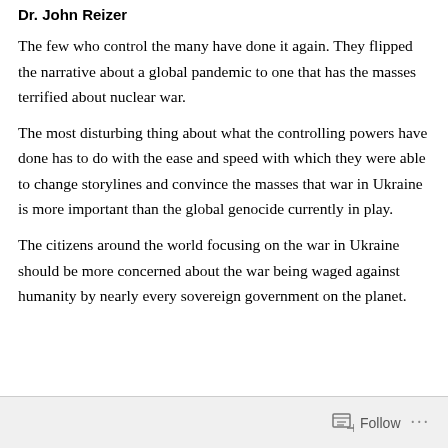Dr. John Reizer
The few who control the many have done it again. They flipped the narrative about a global pandemic to one that has the masses terrified about nuclear war.
The most disturbing thing about what the controlling powers have done has to do with the ease and speed with which they were able to change storylines and convince the masses that war in Ukraine is more important than the global genocide currently in play.
The citizens around the world focusing on the war in Ukraine should be more concerned about the war being waged against humanity by nearly every sovereign government on the planet.
Follow ...